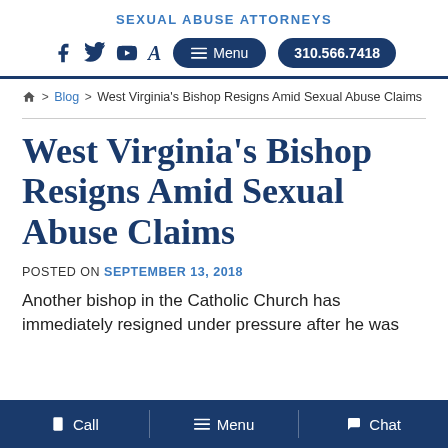SEXUAL ABUSE ATTORNEYS
Menu  310.566.7418
Home > Blog > West Virginia's Bishop Resigns Amid Sexual Abuse Claims
West Virginia's Bishop Resigns Amid Sexual Abuse Claims
POSTED ON SEPTEMBER 13, 2018
Another bishop in the Catholic Church has immediately resigned under pressure after he was
Call  Menu  Chat